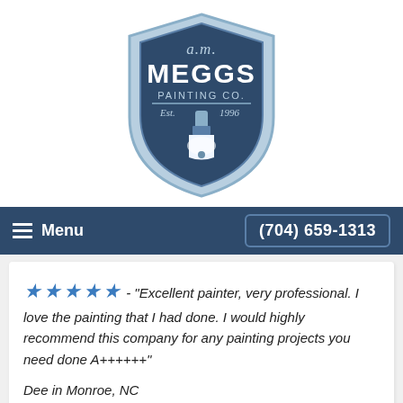[Figure (logo): A.M. Meggs Painting Co. shield logo with a paintbrush, Est. 1996, in blue and white tones]
Menu  (704) 659-1313
★★★★★ - "Excellent painter, very professional. I love the painting that I had done. I would highly recommend this company for any painting projects you need done A++++++"
Dee in Monroe, NC
★★★★★  "Anthony and Stephanie were great to